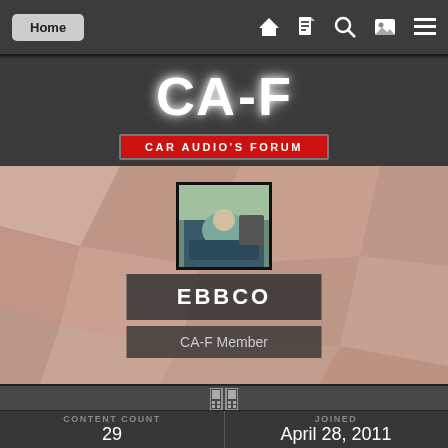Home
[Figure (logo): CA-F Car Audio's Forum logo with large white CA-F letters and red banner]
[Figure (screenshot): User profile banner with polygon background, avatar photo, username EBBCO, and role CA-F Member]
EBBCO
CA-F Member
CONTENT COUNT
29
JOINED
April 28, 2011